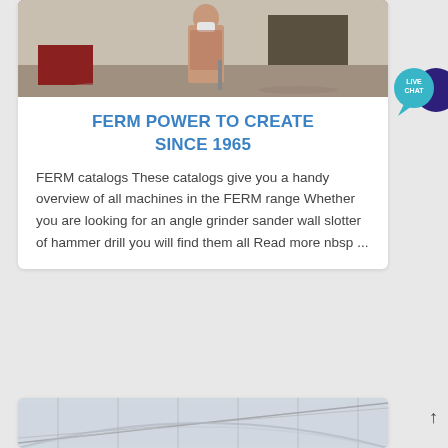[Figure (photo): A construction worker wearing a face mask standing at a construction site]
FERM POWER TO CREATE SINCE 1965
FERM catalogs These catalogs give you a handy overview of all machines in the FERM range Whether you are looking for an angle grinder sander wall slotter of hammer drill you will find them all Read more nbsp ...
[Figure (photo): Interior of a large industrial building or warehouse with steel roof structure]